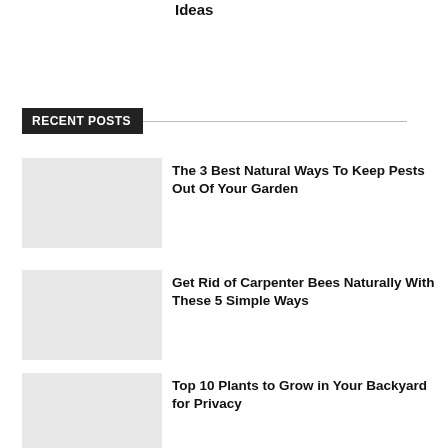Ideas
RECENT POSTS
The 3 Best Natural Ways To Keep Pests Out Of Your Garden
Get Rid of Carpenter Bees Naturally With These 5 Simple Ways
Top 10 Plants to Grow in Your Backyard for Privacy